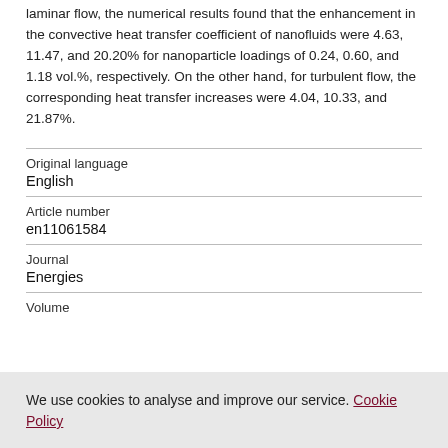laminar flow, the numerical results found that the enhancement in the convective heat transfer coefficient of nanofluids were 4.63, 11.47, and 20.20% for nanoparticle loadings of 0.24, 0.60, and 1.18 vol.%, respectively. On the other hand, for turbulent flow, the corresponding heat transfer increases were 4.04, 10.33, and 21.87%.
| Field | Value |
| --- | --- |
| Original language | English |
| Article number | en11061584 |
| Journal | Energies |
| Volume |  |
We use cookies to analyse and improve our service. Cookie Policy